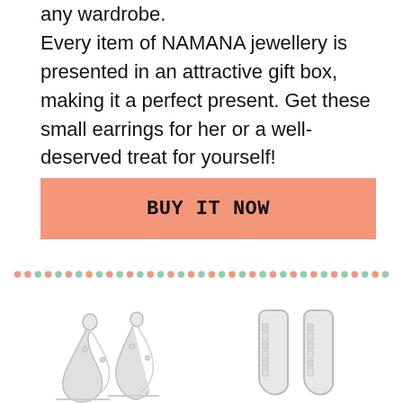any wardrobe.
Every item of NAMANA jewellery is presented in an attractive gift box, making it a perfect present. Get these small earrings for her or a well-deserved treat for yourself!
BUY IT NOW
[Figure (illustration): Decorative dotted divider line with alternating pink and green dots]
[Figure (photo): Two silver charm earrings with decorative figures on the left side, partially visible]
[Figure (photo): Two silver hoop earrings with crystal/diamond embellishments on the right side, partially visible]